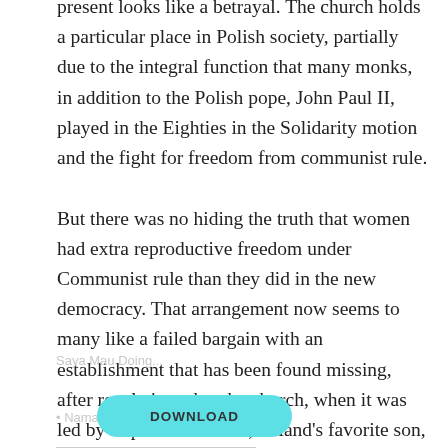present looks like a betrayal. The church holds a particular place in Polish society, partially due to the integral function that many monks, in addition to the Polish pope, John Paul II, played in the Eighties in the Solidarity motion and the fight for freedom from communist rule.

But there was no hiding the truth that women had extra reproductive freedom under Communist rule than they did in the new democracy. That arrangement now seems to many like a failed bargain with an establishment that has been found missing, after revelations that the church, when it was led by Pope John Paul II, Poland's favorite son, had protected pedophile monks in Poland and other countries. Women have been on the coronary heart of a protest motion that has grown and battled on Poland's streets since October, sparked by a court docket determination to ban most abortions. A protest